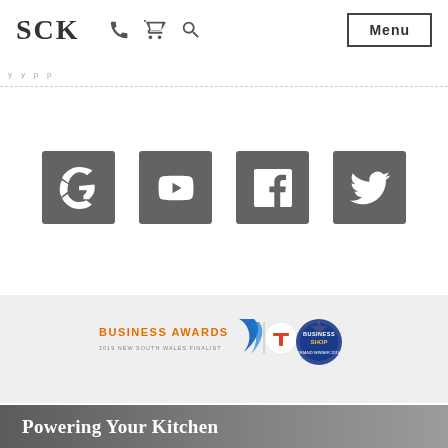SCK
[Figure (screenshot): Social media icons: Google+, YouTube, Facebook, Twitter — grey square buttons with white logos]
[Figure (logo): Telstra Business Awards 2019 New South Wales Finalist logo and Business Shop Grand Winner 2016 badge]
Powering Your Kitchen